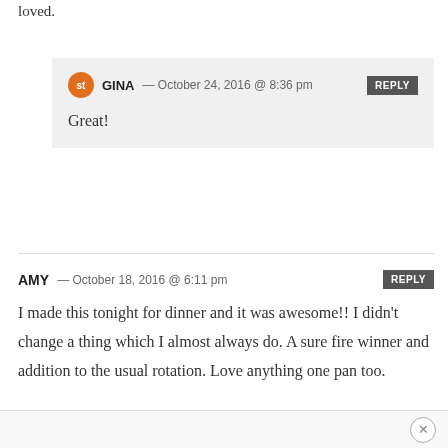loved.
GINA — October 24, 2016 @ 8:36 pm
Great!
AMY — October 18, 2016 @ 6:11 pm
I made this tonight for dinner and it was awesome!! I didn't change a thing which I almost always do. A sure fire winner and addition to the usual rotation. Love anything one pan too.